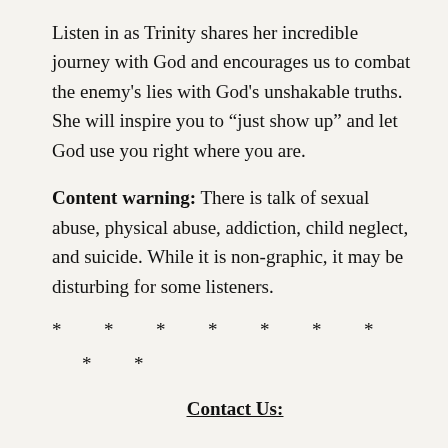Listen in as Trinity shares her incredible journey with God and encourages us to combat the enemy's lies with God's unshakable truths. She will inspire you to “just show up” and let God use you right where you are.
Content warning: There is talk of sexual abuse, physical abuse, addiction, child neglect, and suicide. While it is non-graphic, it may be disturbing for some listeners.
* * * * * * *
* *
Contact Us: